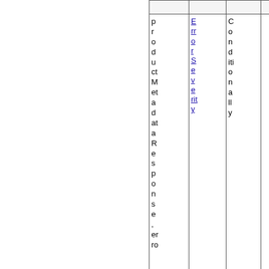|  |  |  |
| --- | --- | --- |
| productMetadata
Response,
erro | ErrorSeverity | Conditionally |